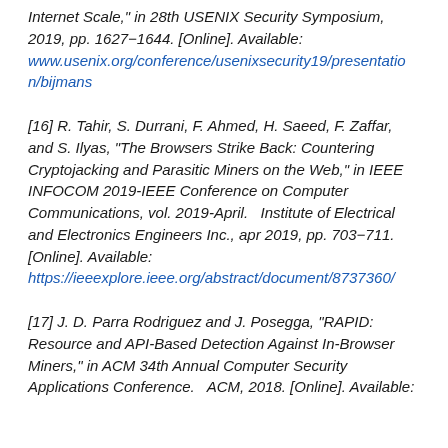Internet Scale," in 28th USENIX Security Symposium, 2019, pp. 1627–1644. [Online]. Available: www.usenix.org/conference/usenixsecurity19/presentation/bijmans
[16] R. Tahir, S. Durrani, F. Ahmed, H. Saeed, F. Zaffar, and S. Ilyas, "The Browsers Strike Back: Countering Cryptojacking and Parasitic Miners on the Web," in IEEE INFOCOM 2019-IEEE Conference on Computer Communications, vol. 2019-April.   Institute of Electrical and Electronics Engineers Inc., apr 2019, pp. 703–711. [Online]. Available: https://ieeexplore.ieee.org/abstract/document/8737360/
[17] J. D. Parra Rodriguez and J. Posegga, "RAPID: Resource and API-Based Detection Against In-Browser Miners," in ACM 34th Annual Computer Security Applications Conference.   ACM, 2018. [Online]. Available: